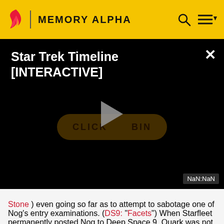MEMORY ALPHA
[Figure (screenshot): Embedded video player with black background showing 'Star Trek Timeline [INTERACTIVE]' title, a play button overlaying a 'CLICK TO BEGIN' button, and a NaN:NaN time display in the bottom right corner.]
Stone ) even going so far as to attempt to sabotage one of Nog's entry examinations. (DS9: "Facets") When Starfleet permanently posted Nog to Deep Space 9, Quark was not above expressing his disapproval of Nog's career choice. However, Quark also had no problem taking advantage of the boy either. For